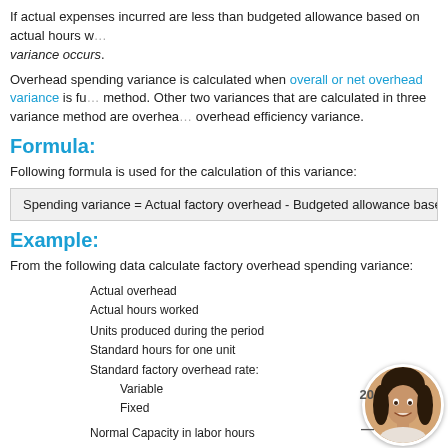If actual expenses incurred are less than budgeted allowance based on actual hours w... variance occurs.
Overhead spending variance is calculated when overall or net overhead variance is fu... method. Other two variances that are calculated in three variance method are overhea... overhead efficiency variance.
Formula:
Following formula is used for the calculation of this variance:
Example:
From the following data calculate factory overhead spending variance:
Actual overhead
Actual hours worked
Units produced during the period
Standard hours for one unit
Standard factory overhead rate:
Variable
Fixed
Normal Capacity in labor hours
[Figure (photo): Portrait photo of a smiling woman with dark hair, circular crop]